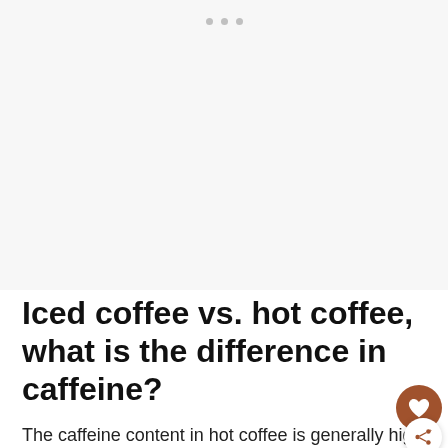[Figure (other): Light gray placeholder image area with three small gray dots near the top center, indicating a loading or carousel indicator.]
Iced coffee vs. hot coffee, what is the difference in caffeine?
The caffeine content in hot coffee is generally higher than in iced coffee. You use less coffee to prepare